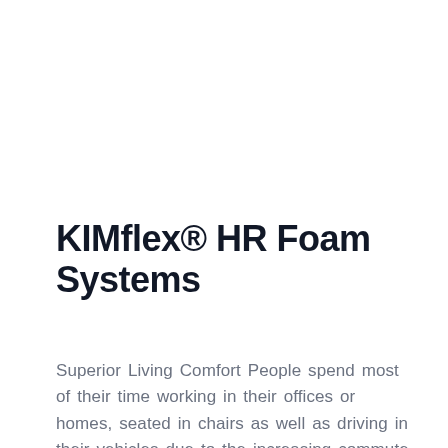KIMflex® HR Foam Systems
Superior Living Comfort People spend most of their time working in their offices or homes, seated in chairs as well as driving in their vehicles due to the increasing commute times and traffic density. Therefore, it is crucial for any